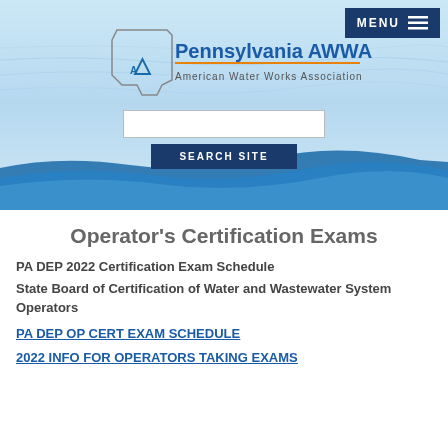MENU
[Figure (logo): Pennsylvania AWWA - American Water Works Association logo with wave graphic]
Operator's Certification Exams
PA DEP 2022 Certification Exam Schedule
State Board of Certification of Water and Wastewater System Operators
PA DEP OP CERT EXAM SCHEDULE
2022 INFO FOR OPERATORS TAKING EXAMS